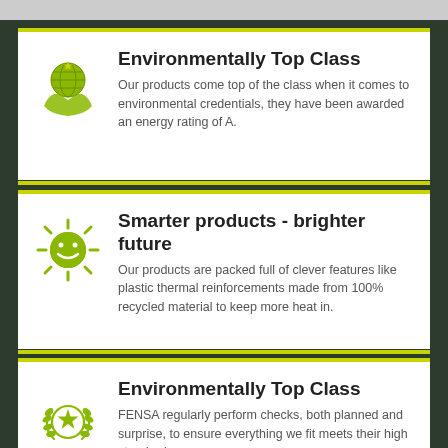[Figure (illustration): Green globe with hands icon representing environmental top class]
Environmentally Top Class
Our products come top of the class when it comes to environmental credentials, they have been awarded an energy rating of A.
[Figure (illustration): Green sun with smiley face icon representing smarter products]
Smarter products - brighter future
Our products are packed full of clever features like plastic thermal reinforcements made from 100% recycled material to keep more heat in.
[Figure (illustration): Green laurel wreath with star icon representing environmentally top class FENSA]
Environmentally Top Class
FENSA regularly perform checks, both planned and surprise, to ensure everything we fit meets their high standards.